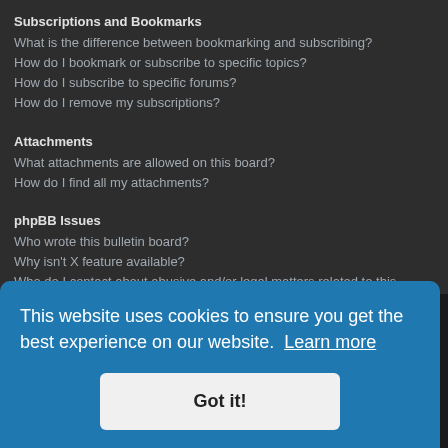Subscriptions and Bookmarks
What is the difference between bookmarking and subscribing?
How do I bookmark or subscribe to specific topics?
How do I subscribe to specific forums?
How do I remove my subscriptions?
Attachments
What attachments are allowed on this board?
How do I find all my attachments?
phpBB Issues
Who wrote this bulletin board?
Why isn't X feature available?
Who do I contact about abusive and/or legal matters related to this board?
How do I contact a board administrator?
You may not have to, it is up to the administrator of the board as to whether you need to register in order to post messages. However; registration will give you access to additional features not available to guest users such as definable avatar images, private messaging, emailing of fellow users, usergroup subscription, etc. It only takes a few moments to register so it is recommended you do so.
This website uses cookies to ensure you get the best experience on our website. Learn more
Got it!